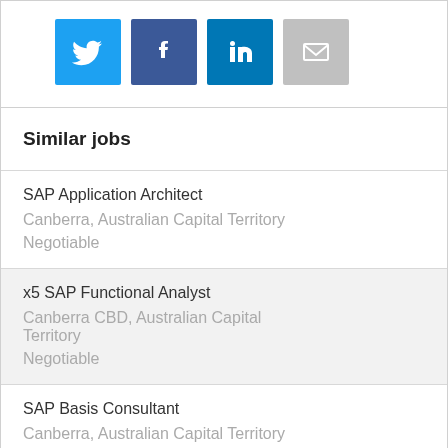[Figure (other): Social sharing buttons: Twitter (light blue), Facebook (dark blue), LinkedIn (medium blue), Email (gray)]
Similar jobs
SAP Application Architect
Canberra, Australian Capital Territory
Negotiable
x5 SAP Functional Analyst
Canberra CBD, Australian Capital Territory
Negotiable
SAP Basis Consultant
Canberra, Australian Capital Territory
Negotiable